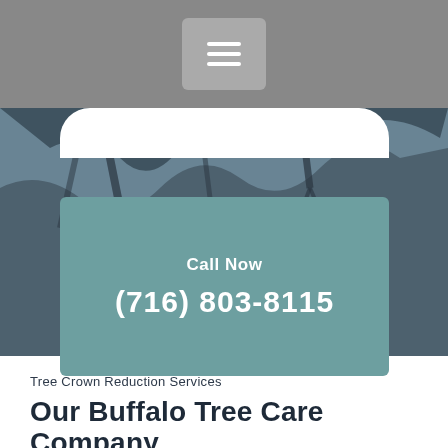[Figure (screenshot): Mobile website header navigation bar with hamburger menu icon on gray background]
[Figure (photo): Background photo of tree branches against sky, partially visible behind white rounded tab and teal call-to-action box]
Call Now
(716) 803-8115
Tree Crown Reduction Services
Our Buffalo Tree Care Company